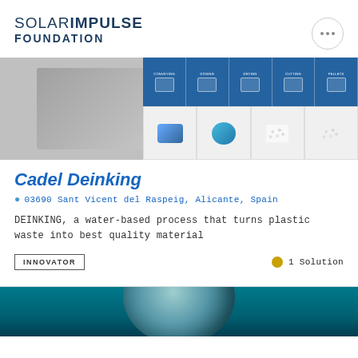SOLAR IMPULSE FOUNDATION
[Figure (photo): Banner image showing plastic recycling machinery on the left and process steps (CONVEYING, DOSING, DRYING, CUTTING, PELLETS) displayed in blue panels on the right with four product thumbnails below showing plastic waste at different stages of processing]
Cadel Deinking
03690 Sant Vicent del Raspeig, Alicante, Spain
DEINKING, a water-based process that turns plastic waste into best quality material
INNOVATOR
1 Solution
[Figure (photo): Partial view of a dark teal/blue background with a moon or planet shape visible at the bottom, suggesting the beginning of another card below]